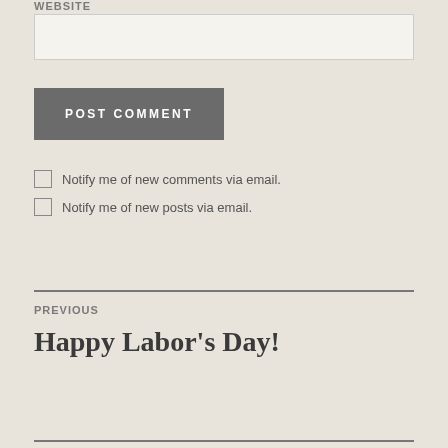WEBSITE
(input box for website)
POST COMMENT
Notify me of new comments via email.
Notify me of new posts via email.
PREVIOUS
Happy Labor's Day!